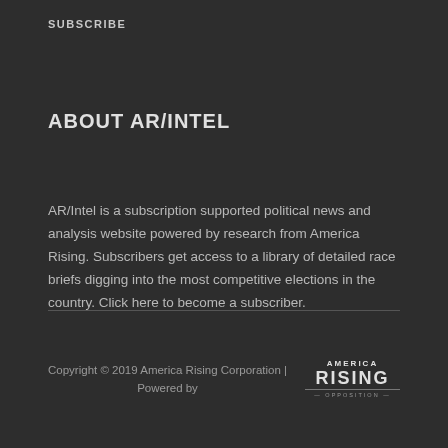SUBSCRIBE
ABOUT AR/INTEL
AR/Intel is a subscription supported political news and analysis website powered by research from America Rising. Subscribers get access to a library of detailed race briefs digging into the most competitive elections in the country. Click here to become a subscriber.
Copyright © 2019 America Rising Corporation | Powered by